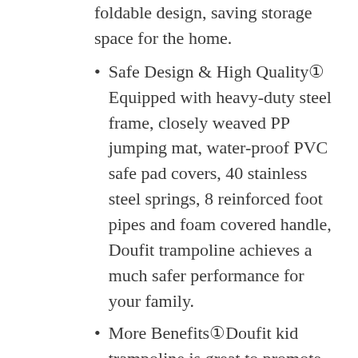foldable design, saving storage space for the home.
Safe Design & High Quality① Equipped with heavy-duty steel frame, closely weaved PP jumping mat, water-proof PVC safe pad covers, 40 stainless steel springs, 8 reinforced foot pipes and foam covered handle, Doufit trampoline achieves a much safer performance for your family.
More Benefits①Doufit kid trampoline is great to promote the growth of bone and muscle, help kids